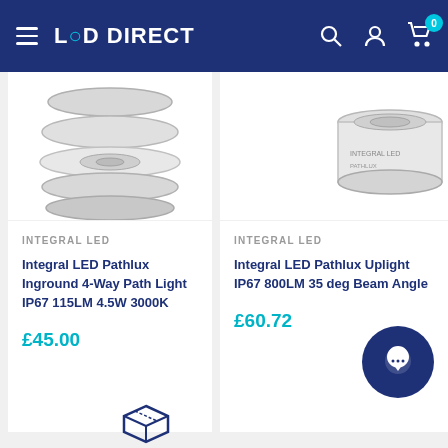LED DIRECT — navigation bar with hamburger menu, logo, search, account, and cart icons (cart badge: 0)
[Figure (photo): Product image of Integral LED Pathlux Inground 4-Way Path Light, circular silver fitting, partially cropped at top]
INTEGRAL LED
Integral LED Pathlux Inground 4-Way Path Light IP67 115LM 4.5W 3000K
£45.00
[Figure (photo): Product image of Integral LED Pathlux Uplight, circular silver fitting, partially cropped at top right]
INTEGRAL LED
Integral LED Pathlux Uplight IP67 800LM 35 deg Beam Angle
£60.72
[Figure (illustration): Chat/message bubble icon at bottom right]
[Figure (illustration): Delivery/box icon at bottom center]